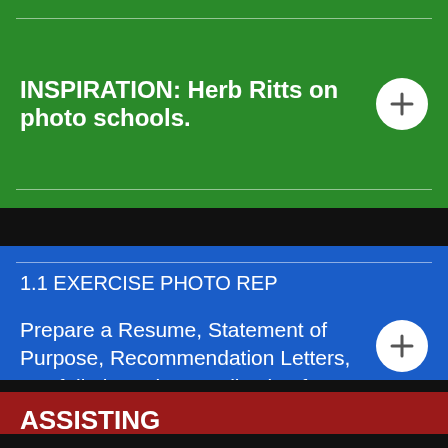INSPIRATION: Herb Ritts on photo schools.
1.1 EXERCISE PHOTO REP
Prepare a Resume, Statement of Purpose, Recommendation Letters, Portfolio based on application form at NewSchool.
ASSISTING